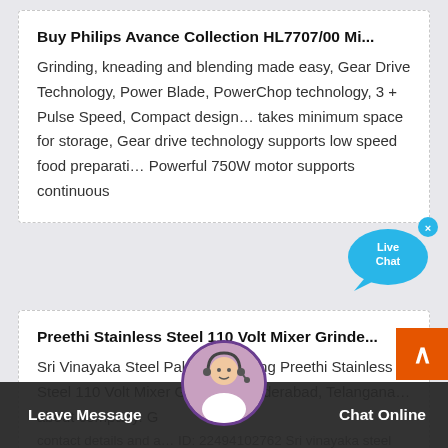Buy Philips Avance Collection HL7707/00 Mi...
Grinding, kneading and blending made easy, Gear Drive Technology, Power Blade, PowerChop technology, 3 + Pulse Speed, Compact design... takes minimum space for storage, Gear drive technology supports low speed food preparati… Powerful 750W motor supports continuous
[Figure (illustration): Live Chat speech bubble with blue color and 'Live Chat' text inside]
Preethi Stainless Steel 110 Volt Mixer Grinde...
Sri Vinayaka Steel Palace - Offering Preethi Stainless Steel 110 Volt Mixer Grinder in Hyderabad, Telangana… about company. G contact details and a… ID: 22494102762 Sri vinayaka steel palace established in 1995. Sri
[Figure (photo): Customer service representative avatar photo in circular frame]
[Figure (illustration): Orange back-to-top button with white upward arrow]
Leave Message    Chat Online